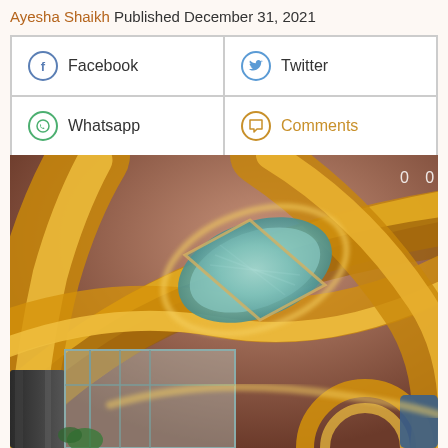Ayesha Shaikh Published December 31, 2021
[Figure (infographic): Social media share buttons: Facebook, Twitter, Whatsapp, Comments arranged in a 2x2 grid with icons]
[Figure (photo): Interior architectural photo showing ornate golden swirling ceiling with an eye-shaped glass skylight element, and a marble column and glass entrance visible below. Counter overlay showing '0 0' in top right.]